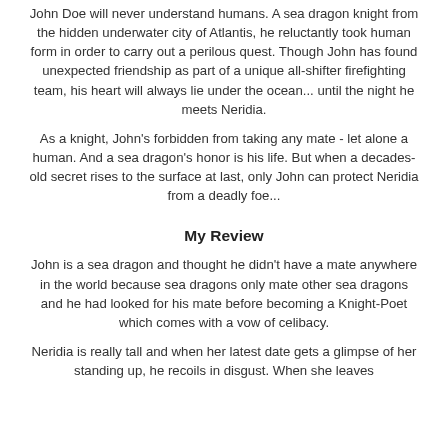John Doe will never understand humans. A sea dragon knight from the hidden underwater city of Atlantis, he reluctantly took human form in order to carry out a perilous quest. Though John has found unexpected friendship as part of a unique all-shifter firefighting team, his heart will always lie under the ocean... until the night he meets Neridia.
As a knight, John's forbidden from taking any mate - let alone a human. And a sea dragon's honor is his life. But when a decades-old secret rises to the surface at last, only John can protect Neridia from a deadly foe...
My Review
John is a sea dragon and thought he didn't have a mate anywhere in the world because sea dragons only mate other sea dragons and he had looked for his mate before becoming a Knight-Poet which comes with a vow of celibacy.
Neridia is really tall and when her latest date gets a glimpse of her standing up, he recoils in disgust. When she leaves